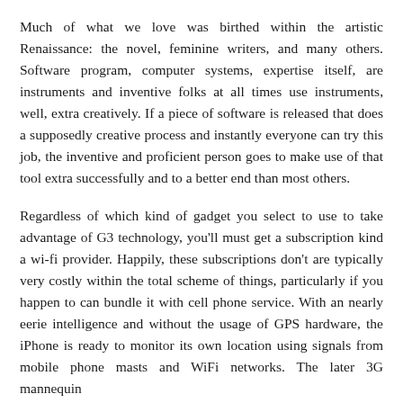Much of what we love was birthed within the artistic Renaissance: the novel, feminine writers, and many others. Software program, computer systems, expertise itself, are instruments and inventive folks at all times use instruments, well, extra creatively. If a piece of software is released that does a supposedly creative process and instantly everyone can try this job, the inventive and proficient person goes to make use of that tool extra successfully and to a better end than most others.
Regardless of which kind of gadget you select to use to take advantage of G3 technology, you'll must get a subscription kind a wi-fi provider. Happily, these subscriptions don't are typically very costly within the total scheme of things, particularly if you happen to can bundle it with cell phone service. With an nearly eerie intelligence and without the usage of GPS hardware, the iPhone is ready to monitor its own location using signals from mobile phone masts and WiFi networks. The later 3G mannequin